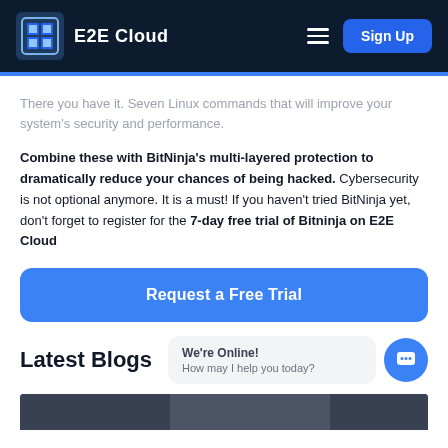E2E Cloud | Sign Up
There you have it. Seven Linux commands that will improve your system's security and performance.
Combine these with BitNinja's multi-layered protection to dramatically reduce your chances of being hacked. Cybersecurity is not optional anymore. It is a must! If you haven't tried BitNinja yet, don't forget to register for the 7-day free trial of Bitninja on E2E Cloud
[Figure (other): Blue rounded button with white text reading 'Request a Free Trial']
Latest Blogs
We're Online! How may I help you today?